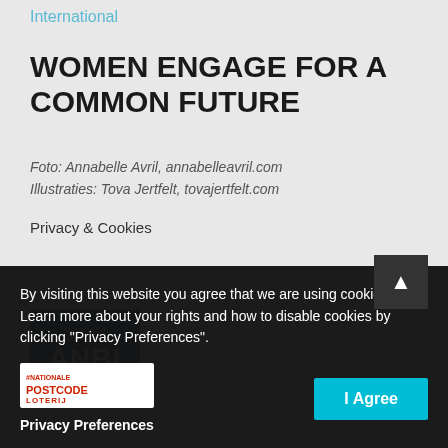International
WOMEN ENGAGE FOR A COMMON FUTURE
Foto: Annabelle Avril, annabelleavril.com
Illustraties: Tova Jertfelt, tovajertfelt.com
Privacy & Cookies
[Figure (logo): ANBI logo - Algemeen Nut Beogende Instelling on dark blue background]
By visiting this website you agree that we are using cookies. Learn more about your rights and how to disable cookies by clicking "Privacy Preferences".
[Figure (logo): Nationale Postcode Loterij logo]
Privacy Preferences
I Agree